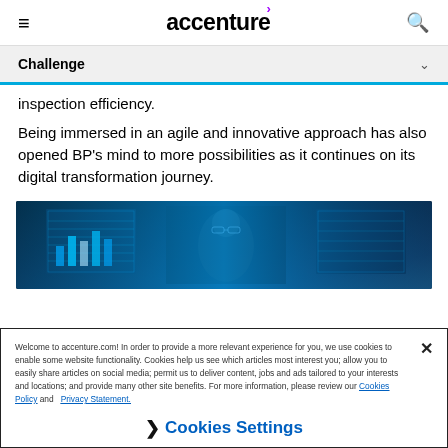accenture
Challenge
inspection efficiency.
Being immersed in an agile and innovative approach has also opened BP’s mind to more possibilities as it continues on its digital transformation journey.
[Figure (photo): Person looking at blue digital data screens with holographic chart displays in a dark tech environment]
Welcome to accenture.com! In order to provide a more relevant experience for you, we use cookies to enable some website functionality. Cookies help us see which articles most interest you; allow you to easily share articles on social media; permit us to deliver content, jobs and ads tailored to your interests and locations; and provide many other site benefits. For more information, please review our Cookies Policy and Privacy Statement.
Cookies Settings